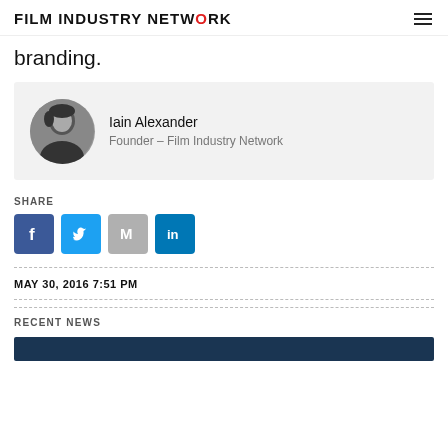FILM INDUSTRY NETWORK
branding.
[Figure (photo): Author card with black and white headshot photo of Iain Alexander, Founder of Film Industry Network]
Iain Alexander
Founder – Film Industry Network
SHARE
[Figure (infographic): Social share buttons: Facebook (blue), Twitter (light blue), Gmail (grey), LinkedIn (dark blue)]
MAY 30, 2016 7:51 PM
RECENT NEWS